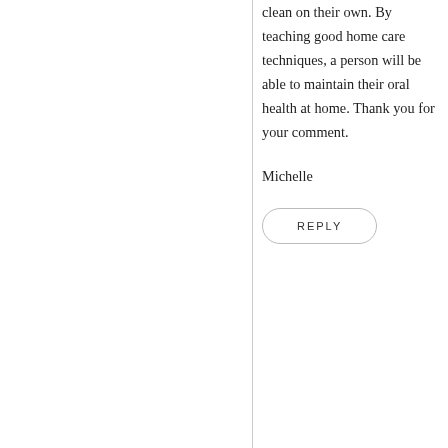clean on their own.  By teaching good home care techniques, a person will be able to maintain their oral health at home.  Thank you for your comment.
Michelle
REPLY
NOVEMBER 24, 2019 AT 12:55 AM
Wayne
[Figure (photo): A person sitting with a dog, wearing a blue sweater]
I've been through many of these and, to be honest, I should have been doing these on a regular basis from when I was